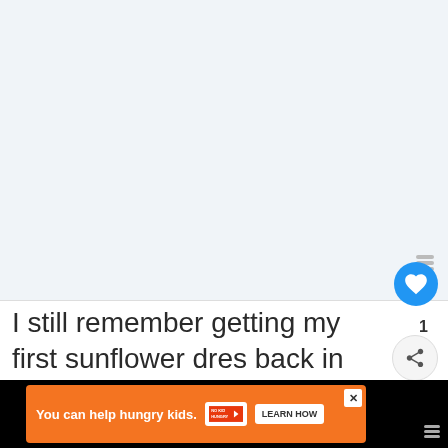[Figure (photo): Light blue/grey placeholder image area at top of article page]
I still remember getting my first sunflower dress back in the day when I was graduating 8th grade. I was so proud to wear that sunflower sundress under my royal blue cap and gown.
[Figure (screenshot): WHAT'S NEXT — Starting Sunflower... recommendation widget with thumbnail]
[Figure (infographic): Advertisement banner: You can help hungry kids. NO KID HUNGRY. LEARN HOW]